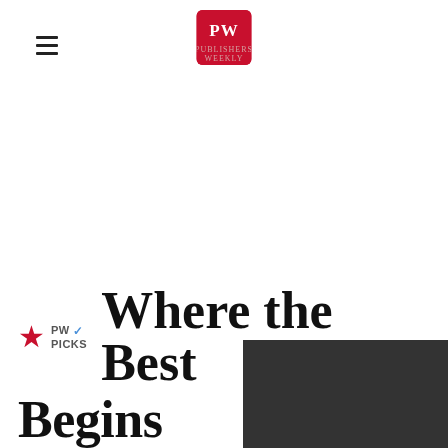[Figure (logo): PW (Publishers Weekly) logo — red rounded square with white PW letters]
Where the Best Begins